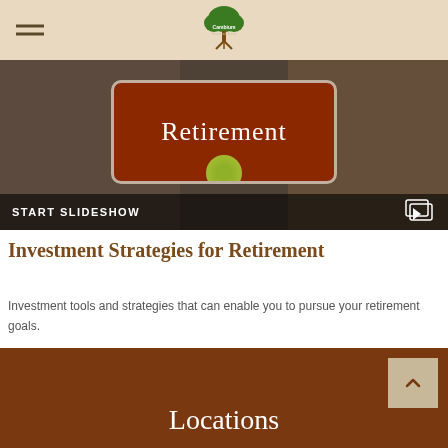Cambium Financial — navigation header with logo
[Figure (screenshot): Hero image showing hands holding a tablet/card with the word 'Retirement' on a dark reddish background, with a 'START SLIDESHOW' bar at the bottom.]
Investment Strategies for Retirement
Investment tools and strategies that can enable you to pursue your retirement goals.
Locations